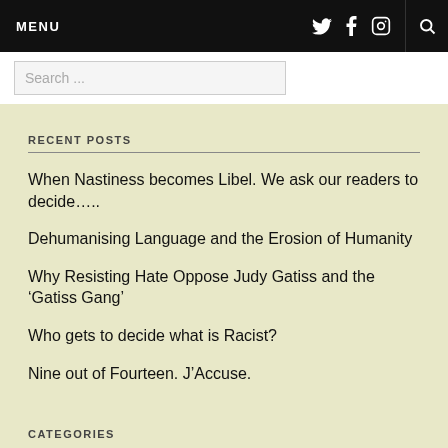MENU
Search ...
RECENT POSTS
When Nastiness becomes Libel. We ask our readers to decide…..
Dehumanising Language and the Erosion of Humanity
Why Resisting Hate Oppose Judy Gatiss and the 'Gatiss Gang'
Who gets to decide what is Racist?
Nine out of Fourteen. J'Accuse.
CATEGORIES